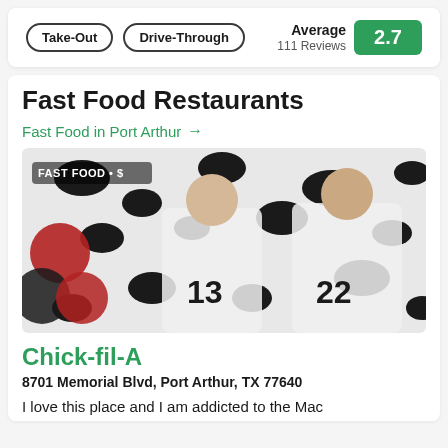Take-Out
Drive-Through
Average 111 Reviews 2.7
Fast Food Restaurants
Fast Food in Port Arthur →
[Figure (photo): Two teenage boys in white soccer jerseys numbered 13 and 22 with Adidas logos, standing in front of a black and white cow-print backdrop with red and black balloons on the left side. Text overlay reads 'FAST FOOD • $']
Chick-fil-A
8701 Memorial Blvd, Port Arthur, TX 77640
I love this place and I am addicted to the Mac